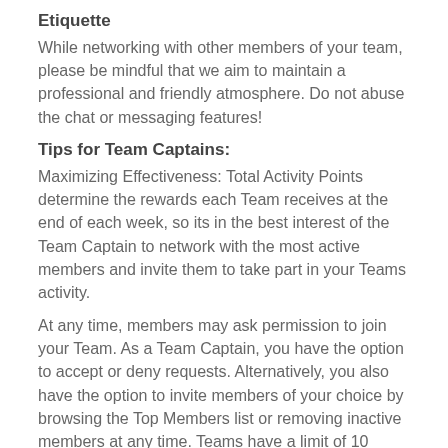Etiquette
While networking with other members of your team, please be mindful that we aim to maintain a professional and friendly atmosphere. Do not abuse the chat or messaging features!
Tips for Team Captains:
Maximizing Effectiveness: Total Activity Points determine the rewards each Team receives at the end of each week, so its in the best interest of the Team Captain to network with the most active members and invite them to take part in your Teams activity.
At any time, members may ask permission to join your Team. As a Team Captain, you have the option to accept or deny requests. Alternatively, you also have the option to invite members of your choice by browsing the Top Members list or removing inactive members at any time. Teams have a limit of 10 members so choose wisely!
To Our Mutual Team Success
Steven Ackerman